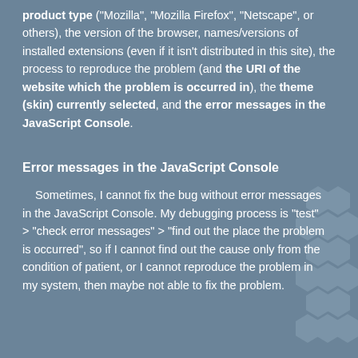product type ("Mozilla", "Mozilla Firefox", "Netscape", or others), the version of the browser, names/versions of installed extensions (even if it isn't distributed in this site), the process to reproduce the problem (and the URI of the website which the problem is occurred in), the theme (skin) currently selected, and the error messages in the JavaScript Console.
Error messages in the JavaScript Console
Sometimes, I cannot fix the bug without error messages in the JavaScript Console. My debugging process is "test" > "check error messages" > "find out the place the problem is occurred", so if I cannot find out the cause only from the condition of patient, or I cannot reproduce the problem in my system, then maybe not able to fix the problem.